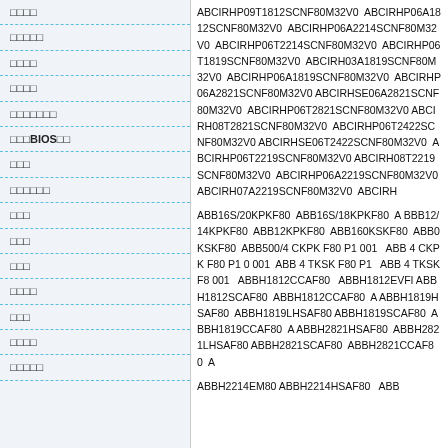□□□□
□□□□□
□□□□
□□□□
□□□□□□□
□□□BIOS□□
□□□
□□□□□□
□□□
□□□
□□□
□□□□
□□□
□□□□
□□□□□
ABCIRHP09T1812SCNF80M32V0 ABCIRHP06A1812SCNF80M32V0 ABCIRHP06A2214SCNF80M32V0 ABCIRHP06T2214SCNF80M32V0 ABCIRHP06T1819SCNF80M32V0 ABCIRH03A1819SCNF80M32V0 ABCIRHP06A1819SCNF80M32V0 ABCIRHP06A2821SCNF80M32V0 ABCIRHSE06A2821SCNF80M32V0 ABCIRHP06T2821SCNF80M32V0 ABCIRH08T2821SCNF80M32V0 ABCIRHP06T2422SCNF80M32V0 ABCIRHSE06T2422SCNF80M32V0 ABCIRHP06T2219SCNF80M32V0 ABCIRH08T2219SCNF80M32V0 ABCIRHP06A2219SCNF80M32V0 ABCIRH07A2219SCNF80M32V0
ABB16S/20KPKF80 ABB16S/18KPKF80 ABB12/14KPKF80 ABB12KPKF80 ABB160KSKF80 ABB0KSKF80 ABB500/4 CKPK F80 P1 001 ABB 4 CKPK F80 P1 0 001 ABB 4 TKSK F80 P1 ABB 4 TKSK F8 001 ABBH1812CCAF80 ABBH1812EVFI ABBH1812SCAF80 ABBH1812CCAF80 A ABBH1819HSAF80 ABBH1819LHSAF80 ABBH1819SCAF80 ABBH1819CCAF80 A ABBH2821HSAF80 ABBH2821LHSAF80 ABBH2821SCAF80 ABBH2821CCAF80 A
ABBH2214EM80 ABBH2214HSAF80